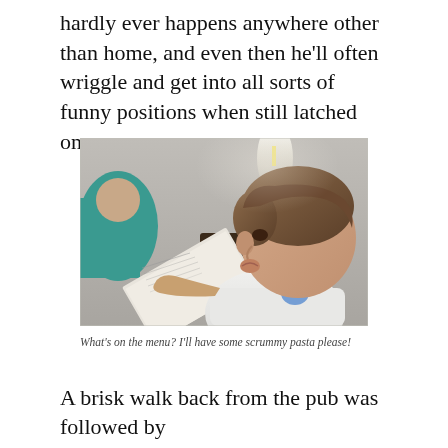hardly ever happens anywhere other than home, and even then he'll often wriggle and get into all sorts of funny positions when still latched on.
[Figure (photo): A young toddler boy with brown hair looking at a restaurant menu, wearing a white top with a blue design. Background shows blurred restaurant interior.]
What's on the menu? I'll have some scrummy pasta please!
A brisk walk back from the pub was followed by